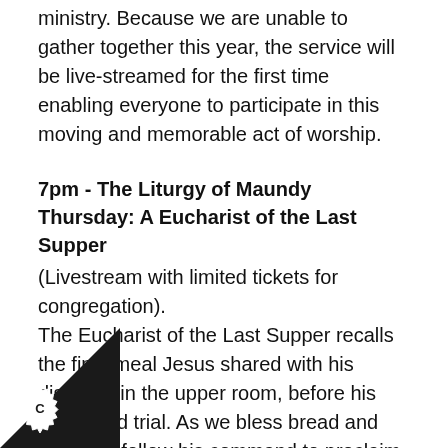ministry. Because we are unable to gather together this year, the service will be live-streamed for the first time enabling everyone to participate in this moving and memorable act of worship.
7pm - The Liturgy of Maundy Thursday: A Eucharist of the Last Supper
(Livestream with limited tickets for congregation). The Eucharist of the Last Supper recalls the final meal Jesus shared with his disciples in the upper room, before his arrest and trial. As we bless bread and wine, we follow his command to proclaim his death until he comes in glory. In a year when many have been unable to partake physically in the Eucharist, this service will help all reflect on the meaning of the body and blood of and how we can be bound together through this